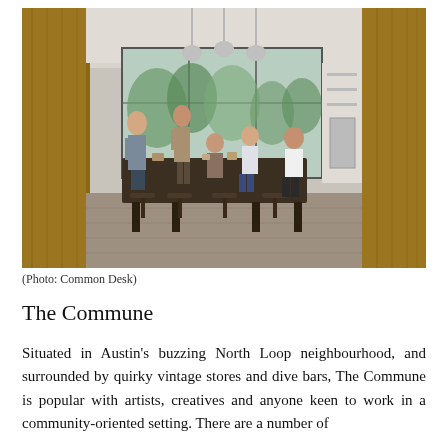[Figure (photo): Interior photo of a modern coworking space kitchen/common area. Several people are gathered around a large wooden table with bar stools. Pendant lights hang from the ceiling. Wood-paneled walls and large windows let in natural light. A kitchen area with shelves and appliances is visible in the background. Hardwood floors in the foreground.]
(Photo: Common Desk)
The Commune
Situated in Austin's buzzing North Loop neighbourhood, and surrounded by quirky vintage stores and dive bars, The Commune is popular with artists, creatives and anyone keen to work in a community-oriented setting. There are a number of